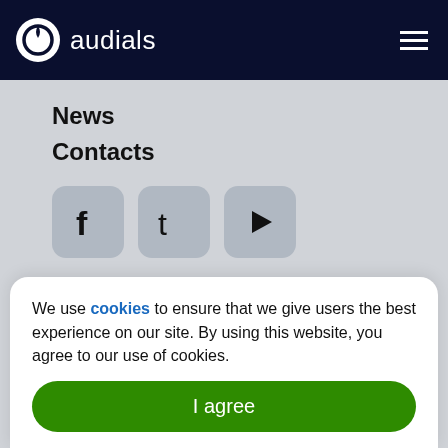audials
News
Contacts
[Figure (illustration): Three social media icon buttons: Facebook (f), Twitter (t), YouTube (play triangle), each in a rounded square with gray background]
AUDIALS AG
We use cookies to ensure that we give users the best experience on our site. By using this website, you agree to our use of cookies.
I agree